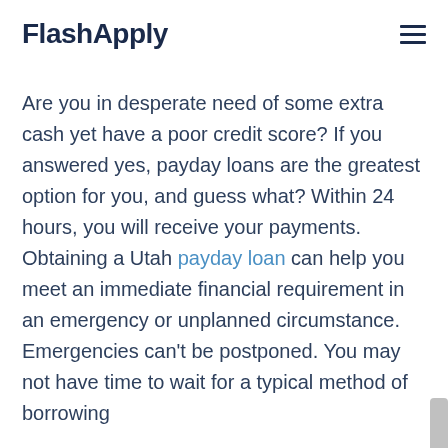FlashApply
Are you in desperate need of some extra cash yet have a poor credit score? If you answered yes, payday loans are the greatest option for you, and guess what? Within 24 hours, you will receive your payments. Obtaining a Utah payday loan can help you meet an immediate financial requirement in an emergency or unplanned circumstance. Emergencies can't be postponed. You may not have time to wait for a typical method of borrowing